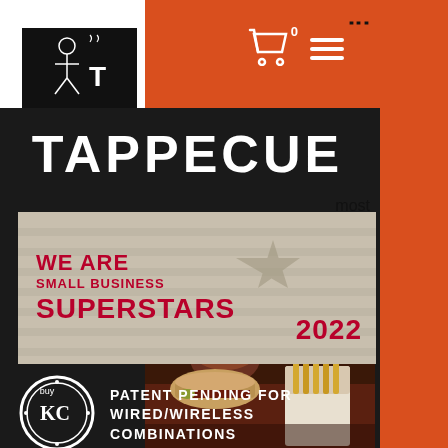[Figure (logo): Tappecue logo - chef figure with letter T on black background]
TAPPECUE
[Figure (infographic): We Are Small Business Superstars 2022 badge with star graphic on gray/tan background]
most the f our
[Figure (infographic): Buy KC circular badge logo with PATENT PENDING FOR WIRED/WIRELESS COMBINATIONS text in white on dark background]
[Figure (photo): Food photo showing BBQ sandwich with fries and dipping sauce]